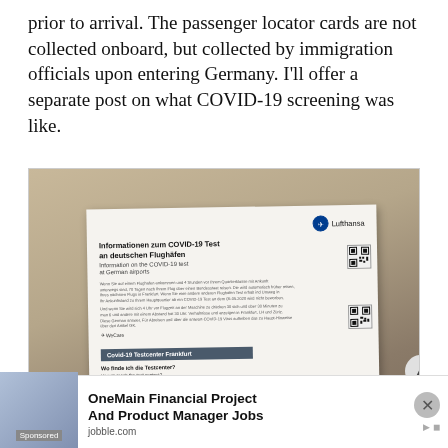prior to arrival. The passenger locator cards are not collected onboard, but collected by immigration officials upon entering Germany. I'll offer a separate post on what COVID-19 screening was like.
[Figure (photo): Photo of a Lufthansa COVID-19 information document about testing at German airports, held or resting on an airplane seat. The document shows text in German and English about COVID-19 tests at German airports, a WeCare logo, a Covid-19 Testcenter Frankfurt section, QR codes, and sections about how to reach test centres.]
OneMain Financial Project And Product Manager Jobs
jobble.com
Sponsored